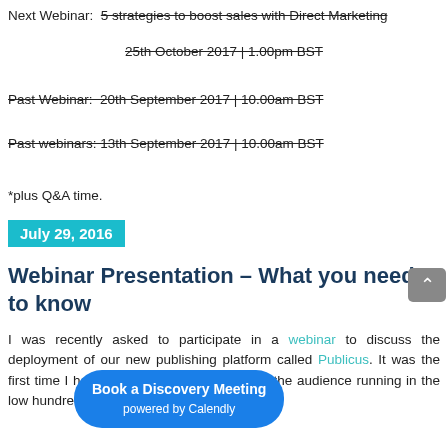Next Webinar:  5 strategies to boost sales with Direct Marketing [strikethrough]
25th October 2017 | 1.00pm BST [strikethrough]
Past Webinar:  20th September 2017 | 10.00am BST [strikethrough]
Past webinars: 13th September 2017 | 10.00am BST [strikethrough]
*plus Q&A time.
July 29, 2016
Webinar Presentation – What you need to know
I was recently asked to participate in a webinar to discuss the deployment of our new publishing platform called Publicus. It was the first time I had taken part in a webinar with the audience running in the low hundred s